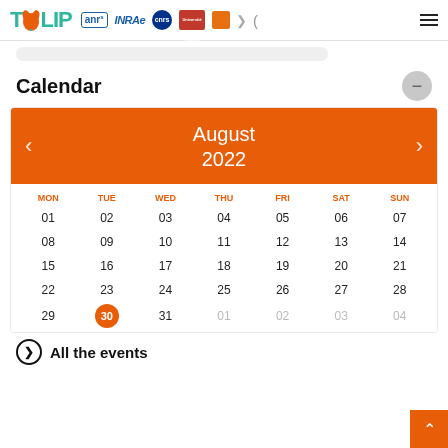[Figure (logo): TULIP laboratory logo with stylized tulip flower, followed by partner logos: ANR, INRAE, CNRS, Université Fédérale, and other institutional logos, plus hamburger menu]
Calendar
[Figure (other): Calendar widget showing August 2022 with orange header, navigation arrows, day headers MON TUE WED THU FRI SAT SUN, dates 01-31, and 30 highlighted as today (Tuesday in orange circle). Days 01-04 of next month shown in grey.]
All the events